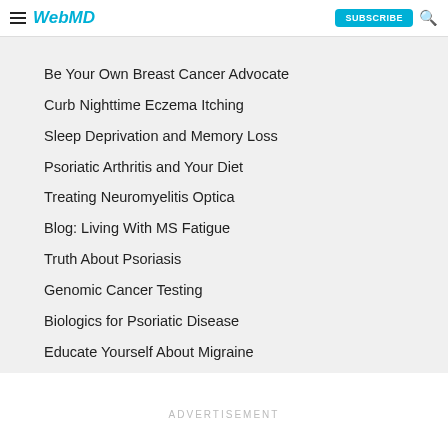WebMD
Be Your Own Breast Cancer Advocate
Curb Nighttime Eczema Itching
Sleep Deprivation and Memory Loss
Psoriatic Arthritis and Your Diet
Treating Neuromyelitis Optica
Blog: Living With MS Fatigue
Truth About Psoriasis
Genomic Cancer Testing
Biologics for Psoriatic Disease
Educate Yourself About Migraine
ADVERTISEMENT